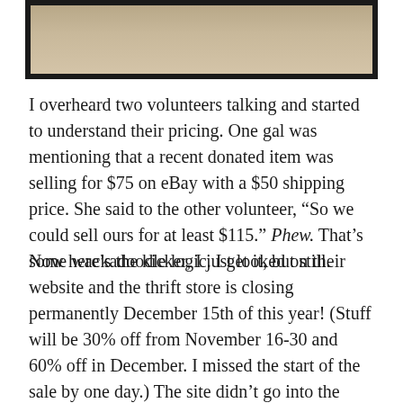[Figure (photo): Partial image of a cat or animal on a sandy/tan textured background, framed with a thick black border. Only the bottom portion of the image is visible.]
I overheard two volunteers talking and started to understand their pricing. One gal was mentioning that a recent donated item was selling for $75 on eBay with a $50 shipping price. She said to the other volunteer, “So we could sell ours for at least $115.” Phew. That’s some wackadoodle logic. I get it, but still.
Now here’s the kicker, I just looked on their website and the thrift store is closing permanently December 15th of this year! (Stuff will be 30% off from November 16-30 and 60% off in December. I missed the start of the sale by one day.) The site didn’t go into the reasons for the store’s imminent closing, but I’m guessing if their